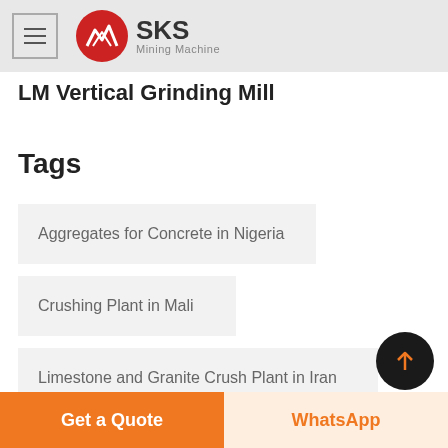[Figure (logo): SKS Mining Machine logo with red circle and hamburger menu icon in grey header]
LM Vertical Grinding Mill
Tags
Aggregates for Concrete in Nigeria
Crushing Plant in Mali
Limestone and Granite Crush Plant in Iran
Get a Quote | WhatsApp